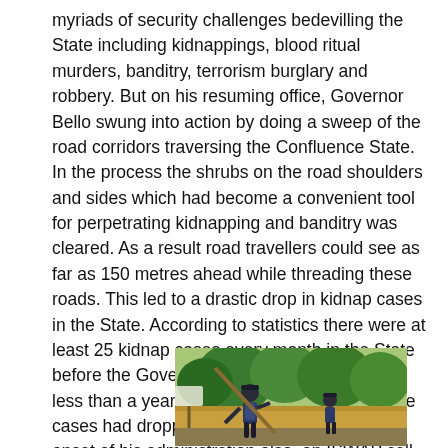myriads of security challenges bedevilling the State including kidnappings, blood ritual murders, banditry, terrorism burglary and robbery. But on his resuming office, Governor Bello swung into action by doing a sweep of the road corridors traversing the Confluence State. In the process the shrubs on the road shoulders and sides which had become a convenient tool for perpetrating kidnapping and banditry was cleared. As a result road travellers could see as far as 150 metres ahead while threading these roads. This led to a drastic drop in kidnap cases in the State. According to statistics there were at least 25 kidnap cases every month in the State before the Governor assumed office, but after less than a year in office of Governor Bello, the cases had dropped to an average of 2. At the onset of his administration also, an ISWAP cell was discovered in Okene area of the State.
[Figure (photo): Two workers in blue uniforms and caps appear to be doing road clearing or maintenance work outdoors, with green trees/shrubs visible in the background and a yellow wall or barrier.]